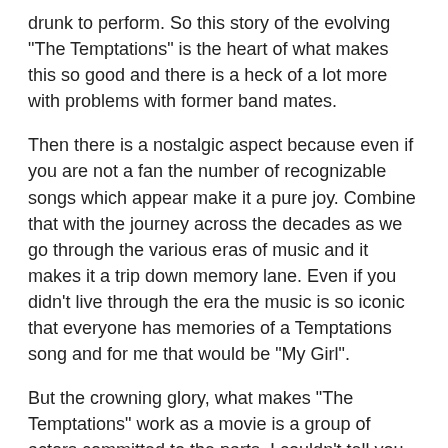drunk to perform. So this story of the evolving "The Temptations" is the heart of what makes this so good and there is a heck of a lot more with problems with former band mates.
Then there is a nostalgic aspect because even if you are not a fan the number of recognizable songs which appear make it a pure joy. Combine that with the journey across the decades as we go through the various eras of music and it makes it a trip down memory lane. Even if you didn't live through the era the music is so iconic that everyone has memories of a Temptations song and for me that would be "My Girl".
But the crowning glory, what makes "The Temptations" work as a movie is a group of actors committed to the parts. I couldn't tell you how authentic these actors are but Charles Malik Whitfield, D.B. Woodside, Leon and Terron Brooks to name just a few of a large cast all deliver characters and never feel like actors just going through the motions. It allows you to feel like you are part of the story rather than just watching others act and it makes the world of difference.